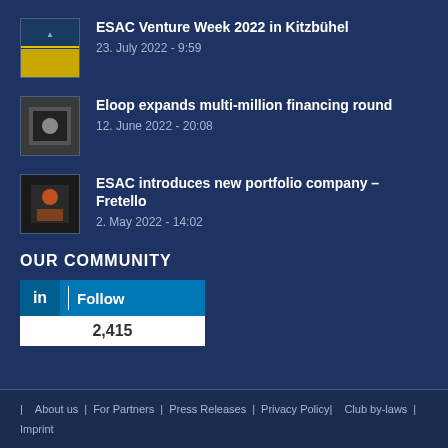[Figure (photo): Thumbnail image for ESAC Venture Week 2022 in Kitzbühel news item]
ESAC Venture Week 2022 in Kitzbühel
23. July 2022 - 9:59
[Figure (photo): Thumbnail image for Eloop expands multi-million financing round news item]
Eloop expands multi-million financing round
12. June 2022 - 20:08
[Figure (photo): Thumbnail image for ESAC introduces new portfolio company – Fretello news item]
ESAC introduces new portfolio company – Fretello
2. May 2022 - 14:02
OUR COMMUNITY
[Figure (other): LinkedIn Follow widget showing 2,415 followers]
About us | For Partners | Press Releases | Privacy Policy | Club by-laws | Imprint